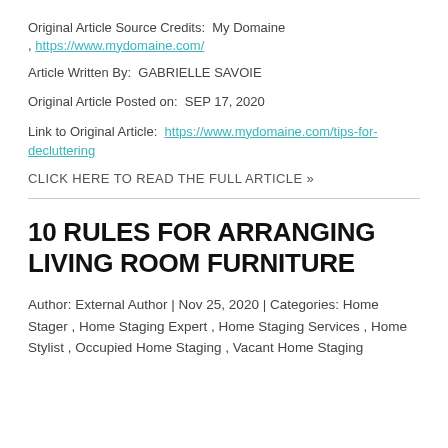Original Article Source Credits:  My Domaine
, https://www.mydomaine.com/
Article Written By:  GABRIELLE SAVOIE
Original Article Posted on:  SEP 17, 2020
Link to Original Article:  https://www.mydomaine.com/tips-for-decluttering
CLICK HERE TO READ THE FULL ARTICLE »
10 RULES FOR ARRANGING LIVING ROOM FURNITURE
Author: External Author | Nov 25, 2020 | Categories: Home Stager , Home Staging Expert , Home Staging Services , Home Stylist , Occupied Home Staging , Vacant Home Staging